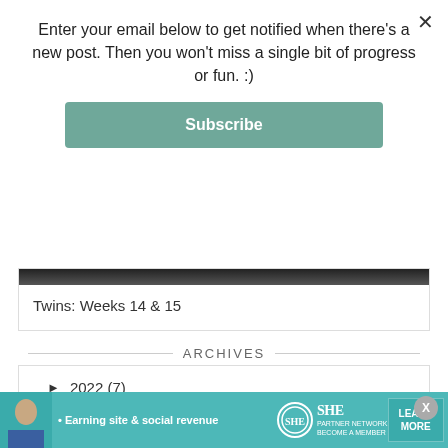Enter your email below to get notified when there's a new post. Then you won't miss a single bit of progress or fun. :)
Subscribe
Twins: Weeks 14 & 15
ARCHIVES
► 2022 (7)
► 2021 (21)
► 2020 (35)
• Earning site & social revenue  SHE PARTNER NETWORK BECOME A MEMBER  LEARN MORE